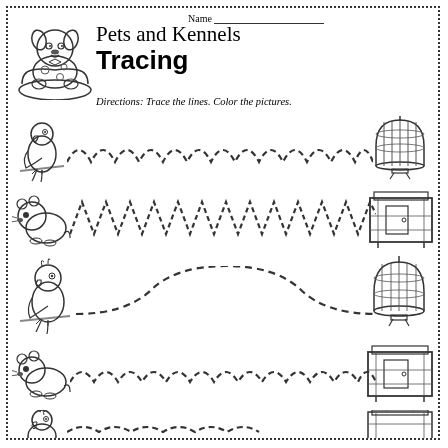Pets and Kennels Tracing
Name ___________________
Directions: Trace the lines. Color the pictures.
[Figure (illustration): Cartoon dog sitting in a dog bed, black and white coloring page style]
[Figure (illustration): Row 1: Cartoon parrot on left, dashed zigzag wave tracing line, birdcage on right]
[Figure (illustration): Row 2: Cartoon hamster/mouse on left, dashed sharp zigzag tracing line, small animal cage on right]
[Figure (illustration): Row 3: Cartoon parrot on left, dashed large wave tracing line, birdcage on right]
[Figure (illustration): Row 4: Cartoon hamster/mouse on left, dashed small wave tracing line, small animal cage on right]
[Figure (illustration): Row 5 (partial): Cartoon parrot on left, partial tracing line, cage on right]